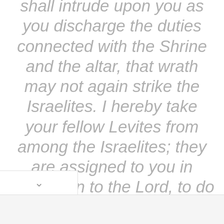shall intrude upon you as you discharge the duties connected with the Shrine and the altar, that wrath may not again strike the Israelites. I hereby take your fellow Levites from among the Israelites; they are assigned to you in dedication to the Lord, to do the work of the Tent of Meeting; while you and your sons shall be careful to